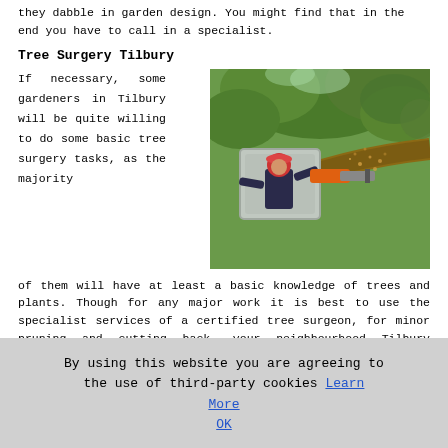they dabble in garden design. You might find that in the end you have to call in a specialist.
Tree Surgery Tilbury
If necessary, some gardeners in Tilbury will be quite willing to do some basic tree surgery tasks, as the majority of them will have at least a basic knowledge of trees and plants. Though for any major work it is best to use the specialist services of a certified tree surgeon, for minor pruning and cutting back, your neighbourhood Tilbury gardener should have all the appropriate skills.
[Figure (photo): A tree surgeon wearing a red helmet operating a chainsaw while cutting a large tree branch, surrounded by flying wood chips and green foliage in the background.]
By using this website you are agreeing to the use of third-party cookies Learn More OK